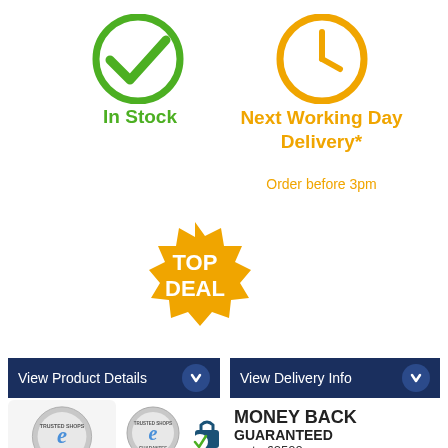[Figure (illustration): Green checkmark circle icon for In Stock]
In Stock
[Figure (illustration): Orange clock circle icon for Next Working Day Delivery]
Next Working Day Delivery*
Order before 3pm
[Figure (illustration): Orange starburst badge with TOP DEAL text]
View Product Details
View Delivery Info
[Figure (logo): Trusted Shops guarantee badge with 4.93 star rating]
[Figure (logo): Trusted Shops Money Back Guaranteed up to £2500 badge with 5 stars]